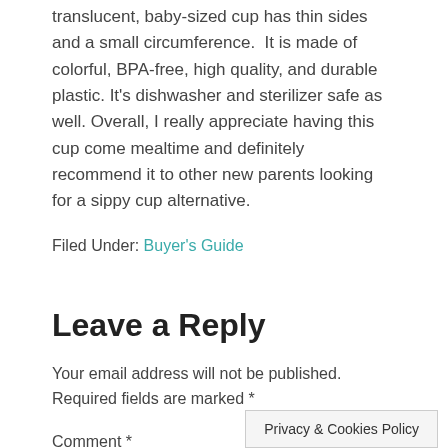translucent, baby-sized cup has thin sides and a small circumference.  It is made of colorful, BPA-free, high quality, and durable plastic. It's dishwasher and sterilizer safe as well. Overall, I really appreciate having this cup come mealtime and definitely recommend it to other new parents looking for a sippy cup alternative.
Filed Under: Buyer's Guide
Leave a Reply
Your email address will not be published. Required fields are marked *
Comment *
Privacy & Cookies Policy